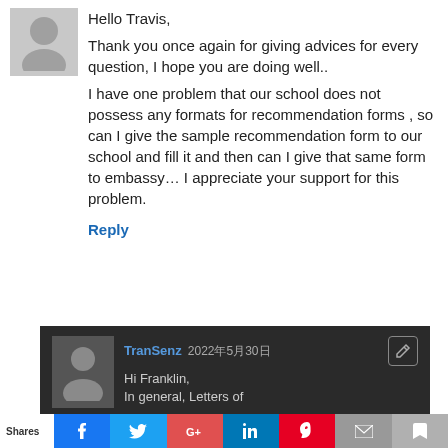Hello Travis,
Thank you once again for giving advices for every question, I hope you are doing well..
I have one problem that our school does not possess any formats for recommendation forms , so can I give the sample recommendation form to our school and fill it and then can I give that same form to embassy… I appreciate your support for this problem.
Reply
TranSenz 2022年5月30日
Hi Franklin,
In general, Letters of